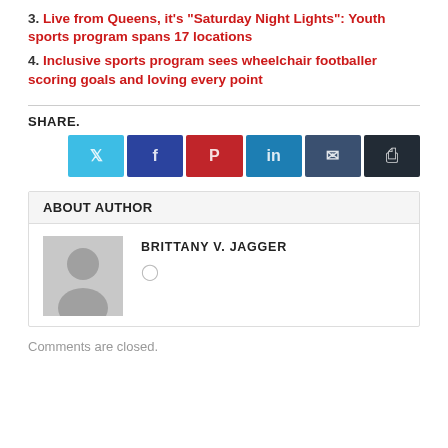3. Live from Queens, it’s “Saturday Night Lights”: Youth sports program spans 17 locations
4. Inclusive sports program sees wheelchair footballer scoring goals and loving every point
SHARE.
ABOUT AUTHOR
BRITTANY V. JAGGER
Comments are closed.